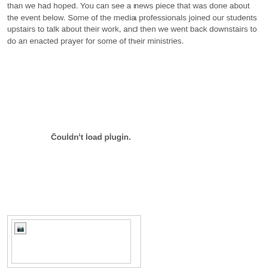than we had hoped. You can see a news piece that was done about the event below. Some of the media professionals joined our students upstairs to talk about their work, and then we went back downstairs to do an enacted prayer for some of their ministries.
Couldn't load plugin.
[Figure (photo): A broken image placeholder with a small image icon in the top-left corner, shown inside a bordered box with a gray border.]